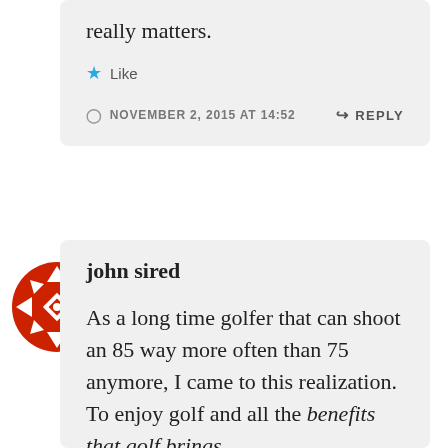really matters.
Like
NOVEMBER 2, 2015 AT 14:52
REPLY
[Figure (illustration): Red and white geometric patterned avatar icon for user john sired]
john sired
As a long time golfer that can shoot an 85 way more often than 75 anymore, I came to this realization. To enjoy golf and all the benefits that golf brings